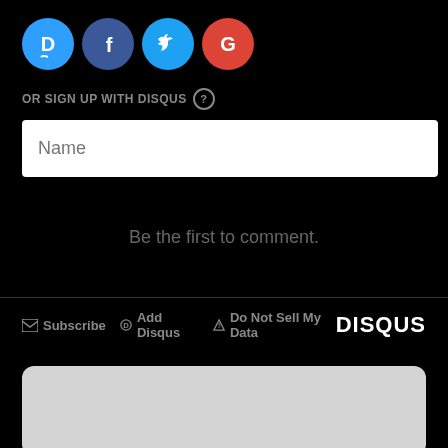[Figure (logo): Four social login icons: Disqus (blue circle with D), Facebook (dark blue circle with f), Twitter (light blue circle with bird), Google (red circle with G)]
OR SIGN UP WITH DISQUS ?
Name
Be the first to comment.
Subscribe  Add Disqus  Do Not Sell My Data  DISQUS